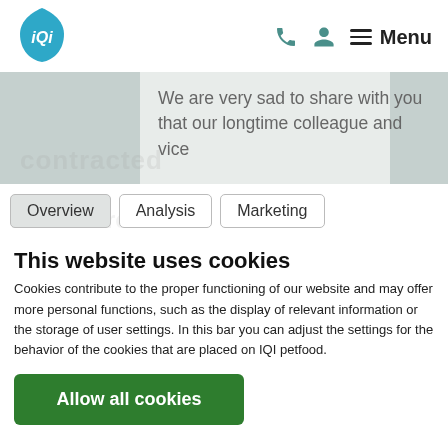[Figure (logo): iQi logo — blue shield with white 'iQi' text inside]
iQi — Menu navigation with phone, account, and menu icons
We are very sad to share with you that our longtime colleague and vice
Overview  Analysis  Marketing
This website uses cookies
Cookies contribute to the proper functioning of our website and may offer more personal functions, such as the display of relevant information or the storage of user settings. In this bar you can adjust the settings for the behavior of the cookies that are placed on IQI petfood.
Allow all cookies